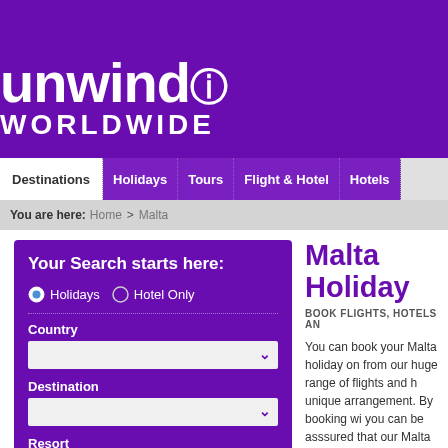[Figure (logo): Unwind Worldwide logo — white text on purple banner background]
Destinations | Holidays | Tours | Flight & Hotel | Hotels
You are here: Home > Malta
Your Search starts here:
Holidays   Hotel Only
Country
Destination
Resort
Malta Holiday
BOOK FLIGHTS, HOTELS AN
You can book your Malta holiday online from our huge range of flights and hotels unique arrangement. By booking with us you can be asssured that our Malta holidays excellent value for money. We pride the cheapest offers on the best fligh
Booking a holiday to Malta online is